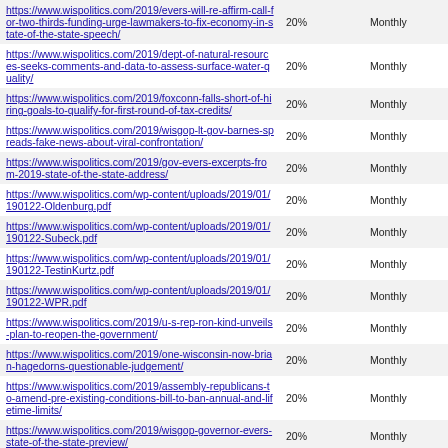| URL | Percentage | Frequency |
| --- | --- | --- |
| https://www.wispolitics.com/2019/evers-will-re-affirm-call-for-two-thirds-funding-urge-lawmakers-to-fix-economy-in-state-of-the-state-speech/ | 20% | Monthly |
| https://www.wispolitics.com/2019/dept-of-natural-resources-seeks-comments-and-data-to-assess-surface-water-quality/ | 20% | Monthly |
| https://www.wispolitics.com/2019/foxconn-falls-short-of-hiring-goals-to-qualify-for-first-round-of-tax-credits/ | 20% | Monthly |
| https://www.wispolitics.com/2019/wisgop-lt-gov-barnes-spreads-fake-news-about-viral-confrontation/ | 20% | Monthly |
| https://www.wispolitics.com/2019/gov-evers-excerpts-from-2019-state-of-the-state-address/ | 20% | Monthly |
| https://www.wispolitics.com/wp-content/uploads/2019/01/190122-Oldenburg.pdf | 20% | Monthly |
| https://www.wispolitics.com/wp-content/uploads/2019/01/190122-Subeck.pdf | 20% | Monthly |
| https://www.wispolitics.com/wp-content/uploads/2019/01/190122-TestinKurtz.pdf | 20% | Monthly |
| https://www.wispolitics.com/wp-content/uploads/2019/01/190122-WPR.pdf | 20% | Monthly |
| https://www.wispolitics.com/2019/u-s-rep-ron-kind-unveils-plan-to-reopen-the-government/ | 20% | Monthly |
| https://www.wispolitics.com/2019/one-wisconsin-now-brian-hagedorns-questionable-judgement/ | 20% | Monthly |
| https://www.wispolitics.com/2019/assembly-republicans-to-amend-pre-existing-conditions-bill-to-ban-annual-and-lifetime-limits/ | 20% | Monthly |
| https://www.wispolitics.com/2019/wisgop-governor-evers-state-of-the-state-preview/ | 20% | Monthly |
| https://www.wispolitics.com/2019/rep-jagler-sen-fitzgerald-introduce-legislation-to-remove-the-r-word-from-state-administrative-code/ | 20% | Monthly |
| https://www.wispolitics.com/2019/legislative-leaders-react-to-evers-state-of-the-state-address/ | 20% | Monthly |